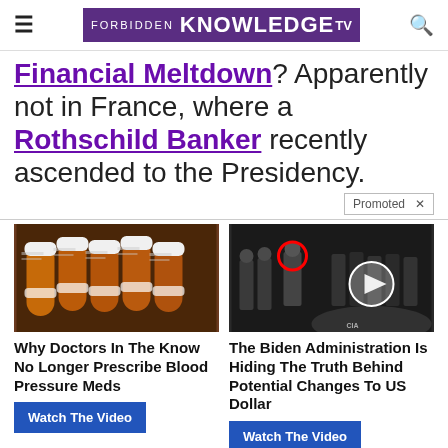FORBIDDEN KNOWLEDGE TV
Financial Meltdown? Apparently not in France, where a Rothschild Banker recently ascended to the Presidency.
Promoted X
[Figure (photo): Photo of multiple prescription pill bottles arranged in a row]
Why Doctors In The Know No Longer Prescribe Blood Pressure Meds
Watch The Video
[Figure (photo): Photo of men in suits at CIA headquarters with a video play button overlay and a man circled in red]
The Biden Administration Is Hiding The Truth Behind Potential Changes To US Dollar
Watch The Video